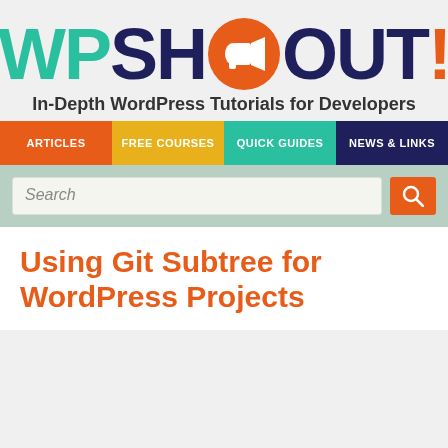[Figure (logo): WPShout logo with megaphone icon and subtitle 'In-Depth WordPress Tutorials for Developers']
[Figure (screenshot): Navigation bar with four items: ARTICLES (orange), FREE COURSES (yellow), QUICK GUIDES (teal), NEWS & LINKS (dark navy)]
[Figure (screenshot): Search bar with text field showing 'Search' placeholder and orange search button]
Using Git Subtree for WordPress Projects